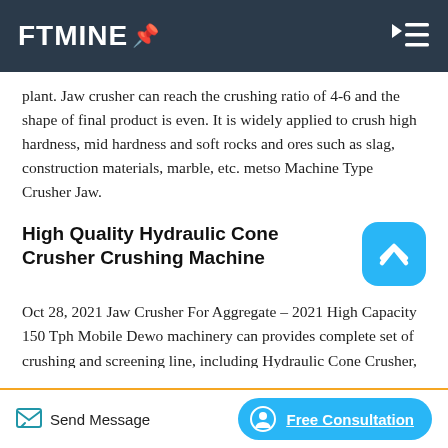FTMINE
plant. Jaw crusher can reach the crushing ratio of 4-6 and the shape of final product is even. It is widely applied to crush high hardness, mid hardness and soft rocks and ores such as slag, construction materials, marble, etc. metso Machine Type Crusher Jaw.
High Quality Hydraulic Cone Crusher Crushing Machine
Oct 28, 2021 Jaw Crusher For Aggregate – 2021 High Capacity 150 Tph Mobile Dewo machinery can provides complete set of crushing and screening line, including Hydraulic Cone Crusher, Jaw Crusher, Impact Crusher, Vertical Shaft Impact Crusher (Sand Making Machine),
Send Message   Free Consultation